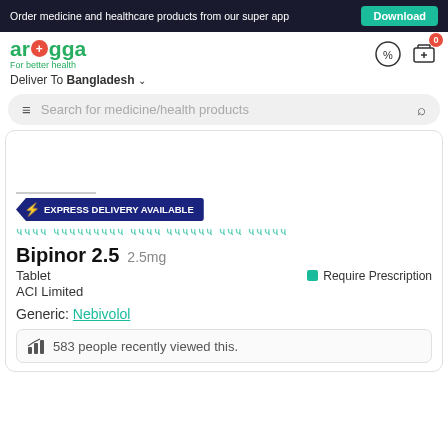Order medicine and healthcare products from our super app | Download
[Figure (logo): Arogga logo - For better health]
Deliver To Bangladesh
Search for medicine/health products
[Figure (infographic): Express Delivery Available badge with lightning bolt]
Bengali text - healthcare related
Bipinor 2.5  2.5mg
Tablet   Require Prescription
ACI Limited
Generic: Nebivolol
583 people recently viewed this.